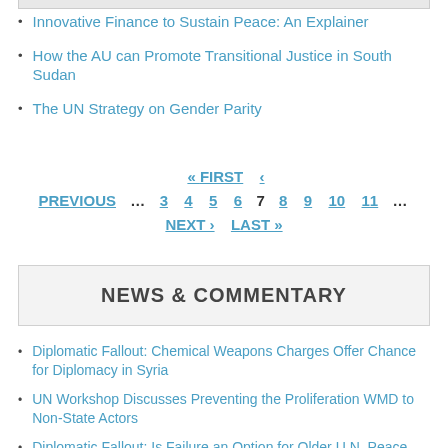Innovative Finance to Sustain Peace: An Explainer
How the AU can Promote Transitional Justice in South Sudan
The UN Strategy on Gender Parity
« FIRST  ‹ PREVIOUS  …  3  4  5  6  7  8  9  10  11  …  NEXT ›  LAST »
NEWS & COMMENTARY
Diplomatic Fallout: Chemical Weapons Charges Offer Chance for Diplomacy in Syria
UN Workshop Discusses Preventing the Proliferation WMD to Non-State Actors
Diplomatic Fallout: Is Failure an Option for Older U.N. Peace Operations?
Diplomatic Fallout: Frustrations Mount for India at the U.N.